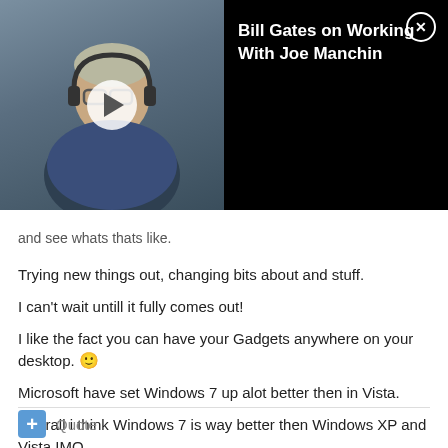[Figure (screenshot): Video thumbnail showing a person wearing glasses and headphones with a play button overlay. The video panel shows title 'Bill Gates on Working With Joe Manchin' on a black background with a close (X) button.]
and see whats thats like.
Trying new things out, changing bits about and stuff.
I can't wait untill it fully comes out!
I like the fact you can have your Gadgets anywhere on your desktop. 🙂
Microsoft have set Windows 7 up alot better then in Vista.
Overall i think Windows 7 is way better then Windows XP and Vista IMO.
Windows 7 = Best Microsoft Windows OS out yet!
Quote